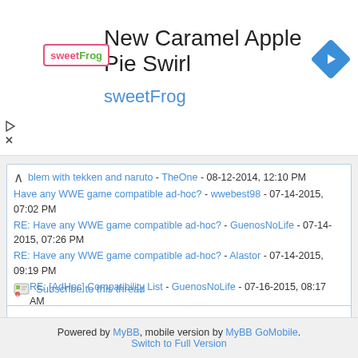[Figure (infographic): Advertisement banner for sweetFrog 'New Caramel Apple Pie Swirl' with logo, brand name, navigation arrow icon, and play/close controls.]
blem with tekken and naruto - TheOne - 08-12-2014, 12:10 PM
Have any WWE game compatible ad-hoc? - wwebest98 - 07-14-2015, 07:02 PM
RE: Have any WWE game compatible ad-hoc? - GuenosNoLife - 07-14-2015, 07:26 PM
RE: Have any WWE game compatible ad-hoc? - Alastor - 07-14-2015, 09:19 PM
RE: [AdHoc] Compatibility List - GuenosNoLife - 07-16-2015, 08:17 AM
RE: [AdHoc] Compatibility List - Alastor - 07-16-2015, 05:40 PM
Working Ad-Hoc List (v1.1.1.0) - LTHaz3 - 10-13-2015, 06:48 AM
Subscribe to this thread
ppsspp.org
Return to Top
Powered by MyBB, mobile version by MyBB GoMobile. Switch to Full Version